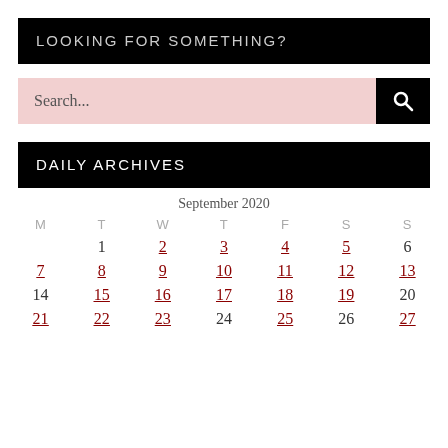LOOKING FOR SOMETHING?
Search...
DAILY ARCHIVES
| M | T | W | T | F | S | S |
| --- | --- | --- | --- | --- | --- | --- |
|  | 1 | 2 | 3 | 4 | 5 | 6 |
| 7 | 8 | 9 | 10 | 11 | 12 | 13 |
| 14 | 15 | 16 | 17 | 18 | 19 | 20 |
| 21 | 22 | 23 | 24 | 25 | 26 | 27 |